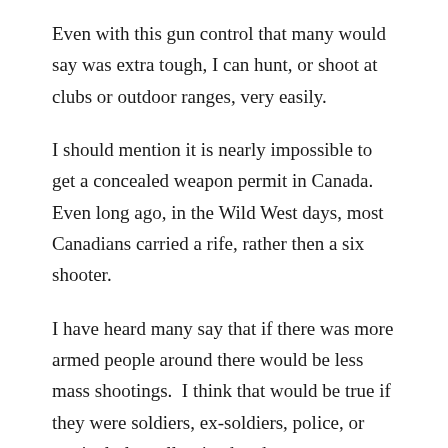Even with this gun control that many would say was extra tough, I can hunt, or shoot at clubs or outdoor ranges, very easily.
I should mention it is nearly impossible to get a concealed weapon permit in Canada.  Even long ago, in the Wild West days, most Canadians carried a rife, rather then a six shooter.
I have heard many say that if there was more armed people around there would be less mass shootings.  I think that would be true if they were soldiers, ex-soldiers, police, or particularly well trained and very experienced people.  It is hard to shoot when you are under fire, and it is extremely hard to shoot accurately when under fire.